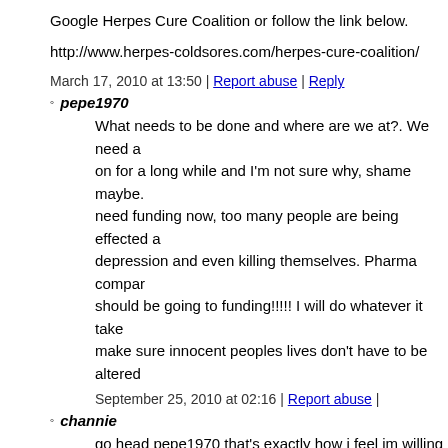Google Herpes Cure Coalition or follow the link below.
http://www.herpes-coldsores.com/herpes-cure-coalition/
March 17, 2010 at 13:50 | Report abuse | Reply
pepe1970
What needs to be done and where are we at?. We need a on for a long while and I'm not sure why, shame maybe. need funding now, too many people are being effected a depression and even killing themselves. Pharma compar should be going to funding!!!!! I will do whatever it take make sure innocent peoples lives don't have to be altered
September 25, 2010 at 02:16 | Report abuse |
channie
go head pepe1970 that's exactly how i feel im willing to to trusted thee wrong person
December 22, 2010 at 19:00 | Report abuse |
22. Chris Taylor
Hi everyone, I agree with what most of you all have said. I wa reckless when I got herpes. I actually got herpes from my ex-fi